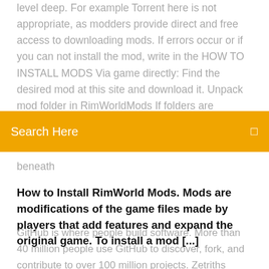level deep. For example Torrent here is not appropriate, as modders provide direct and free access to downloading mods. If errors occur or if you can not install the mod, write in the HOW TO INSTALL MODS Via game directly: Find the desired mod at this site and download it. Unpack mod folder in RimWorldMods If folders are missing, try. Jan 26, 2019 HugsLib
Search Here
beneath
How to Install RimWorld Mods. Mods are modifications of the game files made by players that add features and expand the original game. To install a mod [...]
GitHub is where people build software. More than 40 million people use GitHub to discover, fork, and contribute to over 100 million projects. Zetriths multiplayer coop mod is still in development but surprisingly very stable and very far along with active updates. Videos: [YT Verse.Log:Message(String, Boolean)